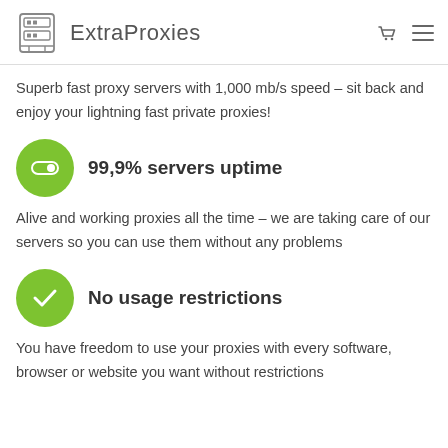ExtraProxies
Superb fast proxy servers with 1,000 mb/s speed – sit back and enjoy your lightning fast private proxies!
99,9% servers uptime
Alive and working proxies all the time – we are taking care of our servers so you can use them without any problems
No usage restrictions
You have freedom to use your proxies with every software, browser or website you want without restrictions